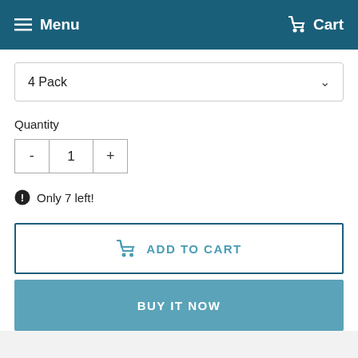Menu  Cart
4 Pack
Quantity
- 1 +
Only 7 left!
ADD TO CART
BUY IT NOW